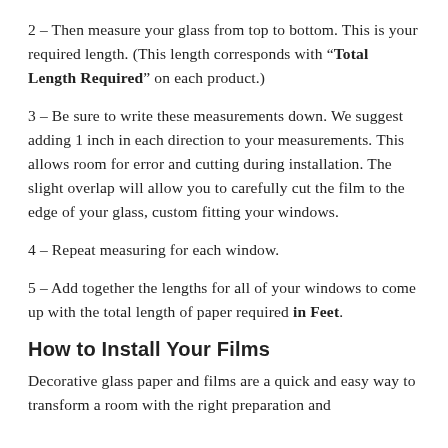2 – Then measure your glass from top to bottom. This is your required length. (This length corresponds with "Total Length Required" on each product.)
3 – Be sure to write these measurements down. We suggest adding 1 inch in each direction to your measurements. This allows room for error and cutting during installation. The slight overlap will allow you to carefully cut the film to the edge of your glass, custom fitting your windows.
4 – Repeat measuring for each window.
5 – Add together the lengths for all of your windows to come up with the total length of paper required in Feet.
How to Install Your Films
Decorative glass paper and films are a quick and easy way to transform a room with the right preparation and